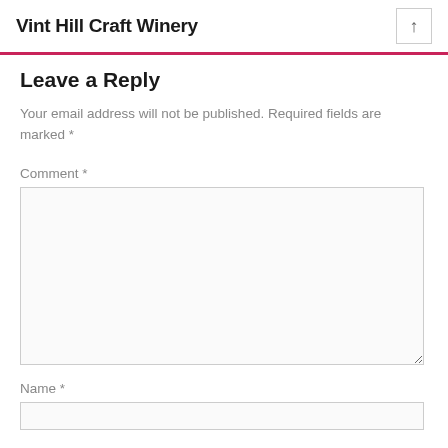Vint Hill Craft Winery
Leave a Reply
Your email address will not be published. Required fields are marked *
Comment *
Name *